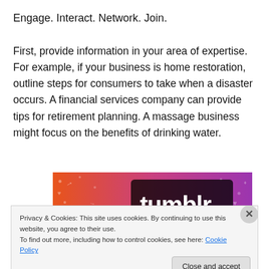Engage. Interact. Network. Join.
First, provide information in your area of expertise.  For example, if your business is home restoration, outline steps for consumers to take when a disaster occurs. A financial services company can provide tips for retirement planning. A massage business might focus on the benefits of drinking water.
[Figure (logo): Tumblr logo banner with colorful illustrated background in orange and purple gradient with small decorative icons and the word 'tumblr' in bold white text]
Privacy & Cookies: This site uses cookies. By continuing to use this website, you agree to their use.
To find out more, including how to control cookies, see here: Cookie Policy